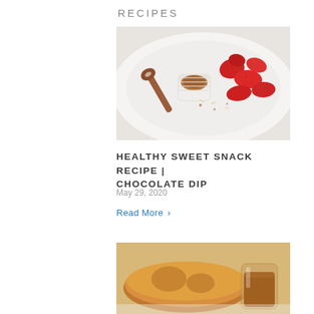RECIPES
[Figure (photo): A white plate with sliced fresh strawberries and a small white ramekin containing chocolate dip, with a wooden spoon beside it on a white background.]
HEALTHY SWEET SNACK RECIPE | CHOCOLATE DIP
May 29, 2020
Read More >
[Figure (photo): A partially visible plate with what appears to be a pancake or pastry with a glass of sauce or syrup beside it.]